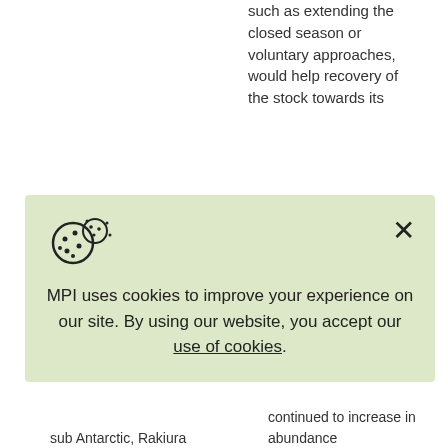such as extending the closed season or voluntary approaches, would help recovery of the stock towards its
[Figure (other): Cookie consent overlay with cookie icon, close X button, and message: MPI uses cookies to improve your experience on our site. By using our website, you accept our use of cookies.]
sub Antarctic, Rakiura
continued to increase in abundance